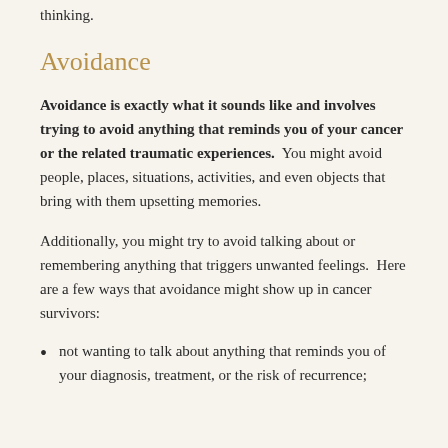thinking.
Avoidance
Avoidance is exactly what it sounds like and involves trying to avoid anything that reminds you of your cancer or the related traumatic experiences.  You might avoid people, places, situations, activities, and even objects that bring with them upsetting memories.
Additionally, you might try to avoid talking about or remembering anything that triggers unwanted feelings.  Here are a few ways that avoidance might show up in cancer survivors:
not wanting to talk about anything that reminds you of your diagnosis, treatment, or the risk of recurrence;